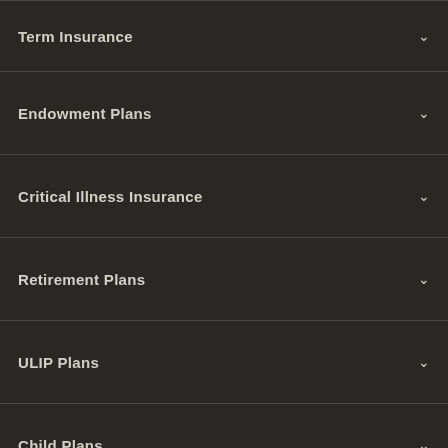Term Insurance
Endowment Plans
Critical Illness Insurance
Retirement Plans
ULIP Plans
Child Plans
Riders
Group Plans